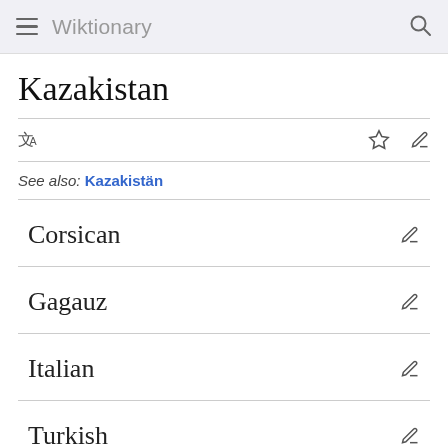Wiktionary
Kazakistan
See also: Kazakistän
Corsican
Gagauz
Italian
Turkish